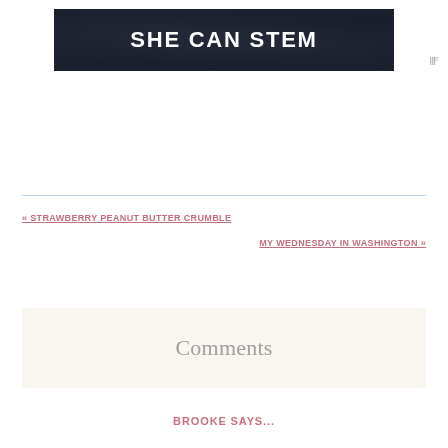[Figure (logo): She Can STEM banner logo — white bold text on dark navy/charcoal background]
wp°
« STRAWBERRY PEANUT BUTTER CRUMBLE
MY WEDNESDAY IN WASHINGTON »
Comments
BROOKE SAYS...